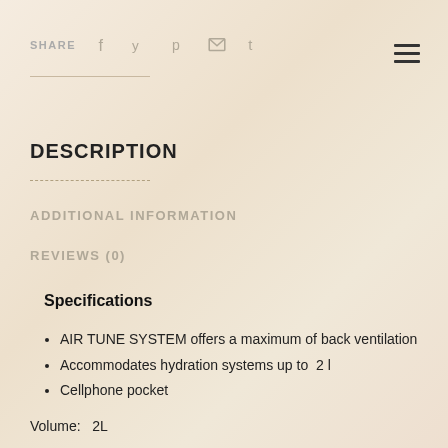SHARE  f  y  p  mail  t
DESCRIPTION
ADDITIONAL INFORMATION
REVIEWS (0)
Specifications
AIR TUNE SYSTEM offers a maximum of back ventilation
Accommodates hydration systems up to  2 l
Cellphone pocket
Volume:   2L